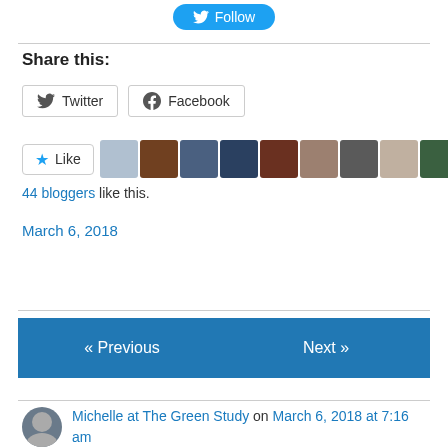[Figure (other): Twitter Follow button at top center]
Share this:
[Figure (other): Twitter share button]
[Figure (other): Facebook share button]
[Figure (other): Like button with star and blogger avatars]
44 bloggers like this.
March 6, 2018
« Previous
Next »
Michelle at The Green Study on March 6, 2018 at 7:16 am